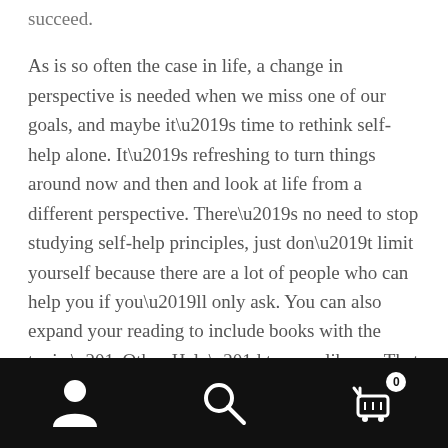succeed.
As is so often the case in life, a change in perspective is needed when we miss one of our goals, and maybe it’s time to rethink self-help alone. It’s refreshing to turn things around now and then and look at life from a different perspective. There’s no need to stop studying self-help principles, just don’t limit yourself because there are a lot of people who can help you if you’ll only ask. You can also expand your reading to include books with the topic “Other-Help” to your library. That may not be a category in the bookstore but you can start with biographies and autobiographies of what people did who achieved what you want to achieve, and maybe you can even meet those people. The answers are always within reach and others
Navigation bar with person icon, search icon, and cart icon (0 items)